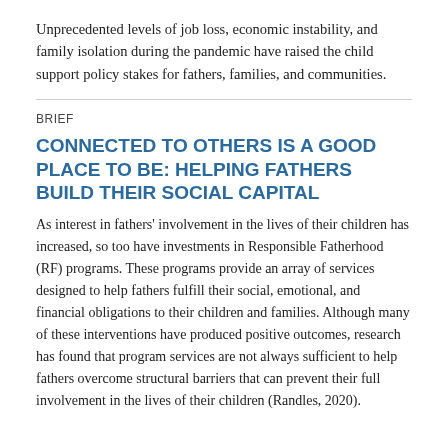Unprecedented levels of job loss, economic instability, and family isolation during the pandemic have raised the child support policy stakes for fathers, families, and communities.
BRIEF
CONNECTED TO OTHERS IS A GOOD PLACE TO BE: HELPING FATHERS BUILD THEIR SOCIAL CAPITAL
As interest in fathers' involvement in the lives of their children has increased, so too have investments in Responsible Fatherhood (RF) programs. These programs provide an array of services designed to help fathers fulfill their social, emotional, and financial obligations to their children and families. Although many of these interventions have produced positive outcomes, research has found that program services are not always sufficient to help fathers overcome structural barriers that can prevent their full involvement in the lives of their children (Randles, 2020).